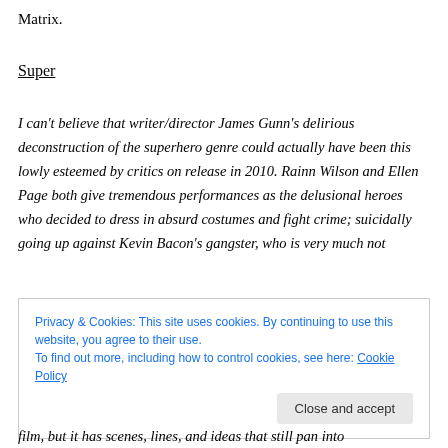Matrix.
Super
I can't believe that writer/director James Gunn's delirious deconstruction of the superhero genre could actually have been this lowly esteemed by critics on release in 2010. Rainn Wilson and Ellen Page both give tremendous performances as the delusional heroes who decided to dress in absurd costumes and fight crime; suicidally going up against Kevin Bacon's gangster, who is very much not
Privacy & Cookies: This site uses cookies. By continuing to use this website, you agree to their use.
To find out more, including how to control cookies, see here: Cookie Policy
film, but it has scenes, lines, and ideas that still pan into